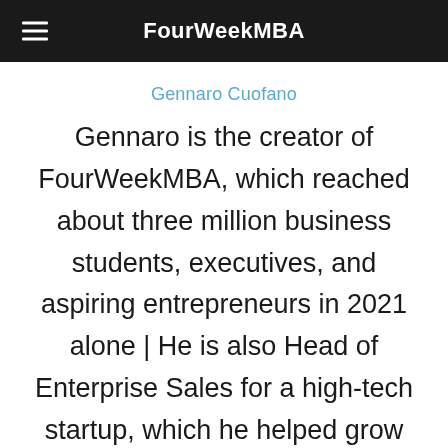FourWeekMBA
Gennaro Cuofano
Gennaro is the creator of FourWeekMBA, which reached about three million business students, executives, and aspiring entrepreneurs in 2021 alone | He is also Head of Enterprise Sales for a high-tech startup, which he helped grow